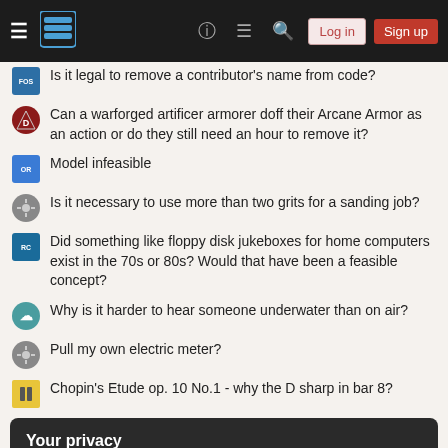Stack Exchange navigation bar with Log in and Sign up buttons
Is it legal to remove a contributor's name from code?
Can a warforged artificer armorer doff their Arcane Armor as an action or do they still need an hour to remove it?
Model infeasible
Is it necessary to use more than two grits for a sanding job?
Did something like floppy disk jukeboxes for home computers exist in the 70s or 80s? Would that have been a feasible concept?
Why is it harder to hear someone underwater than on air?
Pull my own electric meter?
Chopin's Etude op. 10 No.1 - why the D sharp in bar 8?
Your privacy
By clicking "Accept all cookies", you agree Stack Exchange can store cookies on your device and disclose information in accordance with our Cookie Policy.
Accept all cookies  Customize settings
How do applications determine if instruction set is available and use it